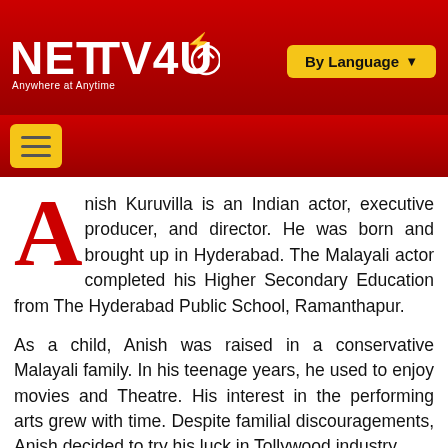NETTV4U — Anywhere at Anytime | By Language
Anish Kuruvilla is an Indian actor, executive producer, and director. He was born and brought up in Hyderabad. The Malayali actor completed his Higher Secondary Education from The Hyderabad Public School, Ramanthapur.
As a child, Anish was raised in a conservative Malayali family. In his teenage years, he used to enjoy movies and Theatre. His interest in the performing arts grew with time. Despite familial discouragements, Anish decided to try his luck in Tollywood industry.
He started his journey as an actor with 2000, Drama